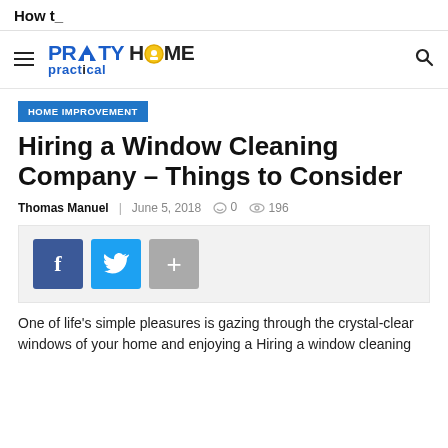How t_
[Figure (logo): Pretty Practical Home logo with hamburger menu and search icon]
HOME IMPROVEMENT
Hiring a Window Cleaning Company – Things to Consider
Thomas Manuel   June 5, 2018   0   196
[Figure (infographic): Social share buttons: Facebook, Twitter, and more (+)]
One of life's simple pleasures is gazing through the crystal-clear windows of your home and enjoying a Hiring a window cleaning